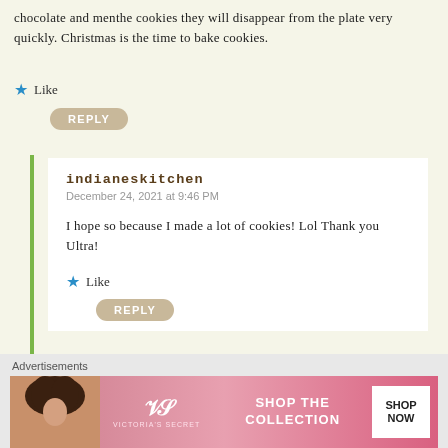chocolate and menthe cookies they will disappear from the plate very quickly. Christmas is the time to bake cookies.
★ Like
REPLY
indianeskitchen
December 24, 2021 at 9:46 PM
I hope so because I made a lot of cookies! Lol Thank you Ultra!
★ Like
REPLY
Carla
December 22, 2021 at 8:15 PM
Advertisements